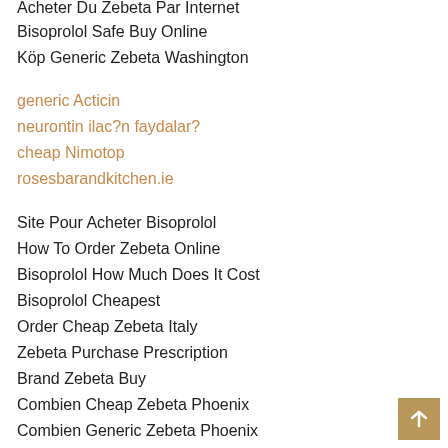Acheter Du Zebeta Par Internet
Bisoprolol Safe Buy Online
Köp Generic Zebeta Washington
generic Acticin
neurontin ilac?n faydalar?
cheap Nimotop
rosesbarandkitchen.ie
Site Pour Acheter Bisoprolol
How To Order Zebeta Online
Bisoprolol How Much Does It Cost
Bisoprolol Cheapest
Order Cheap Zebeta Italy
Zebeta Purchase Prescription
Brand Zebeta Buy
Combien Cheap Zebeta Phoenix
Combien Generic Zebeta Phoenix